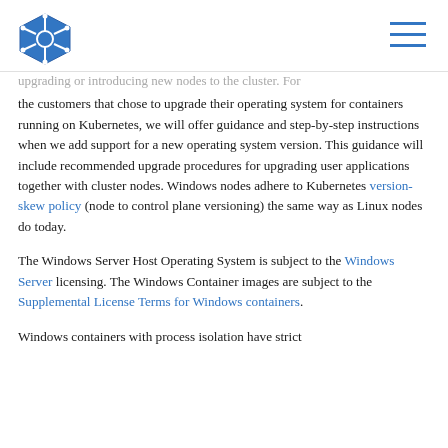Kubernetes logo and navigation menu
upgrading or introducing new nodes to the cluster. For the customers that chose to upgrade their operating system for containers running on Kubernetes, we will offer guidance and step-by-step instructions when we add support for a new operating system version. This guidance will include recommended upgrade procedures for upgrading user applications together with cluster nodes. Windows nodes adhere to Kubernetes version-skew policy (node to control plane versioning) the same way as Linux nodes do today.
The Windows Server Host Operating System is subject to the Windows Server licensing. The Windows Container images are subject to the Supplemental License Terms for Windows containers.
Windows containers with process isolation have strict